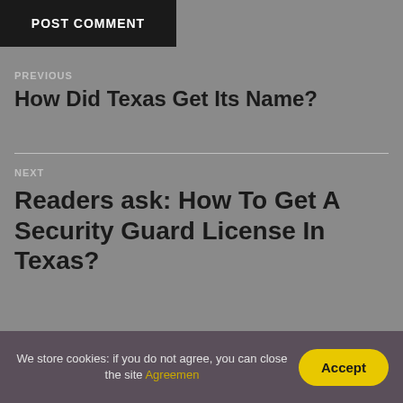POST COMMENT
PREVIOUS
How Did Texas Get Its Name?
NEXT
Readers ask: How To Get A Security Guard License In Texas?
We store cookies: if you do not agree, you can close the site Agreemen
Accept